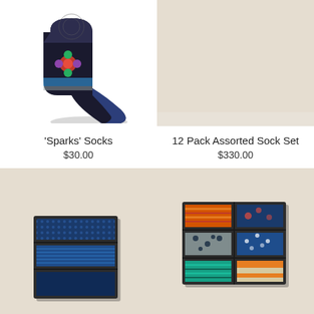[Figure (photo): Photo of 'Sparks' Socks - a colorful ankle sock with floral/graphic pattern on dark background]
[Figure (photo): Photo of 12 Pack Assorted Sock Set top portion - beige/cream background]
'Sparks' Socks
$30.00
12 Pack Assorted Sock Set
$330.00
[Figure (photo): Photo of a sock gift box with 3 pairs of navy/blue patterned socks folded in a dark box on beige background]
[Figure (photo): Photo of a sock gift box with 6 pairs of assorted colorful socks (orange, navy, grey, blue, teal) folded in a dark box on beige background]